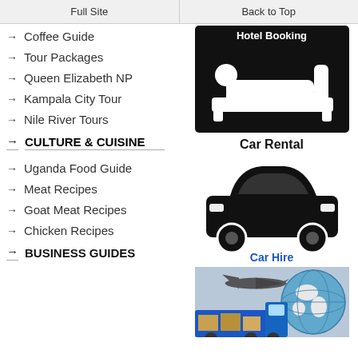Full Site | Back to Top
Coffee Guide
Tour Packages
Queen Elizabeth NP
Kampala City Tour
Nile River Tours
CULTURE & CUISINE
Uganda Food Guide
Meat Recipes
Goat Meat Recipes
Chicken Recipes
BUSINESS GUIDES
[Figure (illustration): Hotel Booking icon: black box with white person lying in bed icon and text Hotel Booking]
[Figure (illustration): Car Rental icon: black car silhouette from front view]
Car Hire
[Figure (photo): Photo of globe, airplane, and blue shipping truck with cargo boxes - logistics/travel imagery]